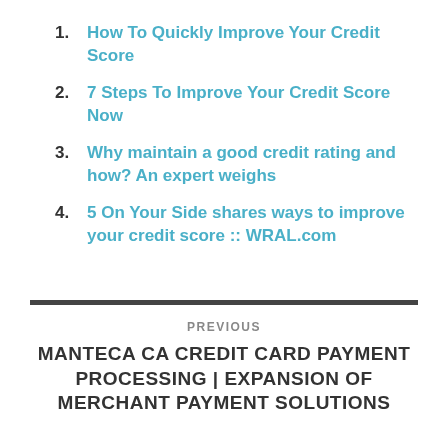1. How To Quickly Improve Your Credit Score
2. 7 Steps To Improve Your Credit Score Now
3. Why maintain a good credit rating and how? An expert weighs
4. 5 On Your Side shares ways to improve your credit score :: WRAL.com
PREVIOUS
MANTECA CA CREDIT CARD PAYMENT PROCESSING | EXPANSION OF MERCHANT PAYMENT SOLUTIONS